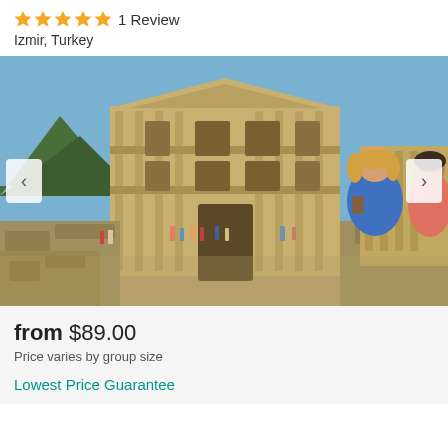★★★★★ 1 Review
Izmir, Turkey
[Figure (photo): Three tourists (two women and a man) posing in front of the ancient Library of Celsus ruins in Ephesus, Turkey. The woman on the left wears a blue top, the young woman in the middle wears pink with sunglasses, and the man on the right wears a blue polo shirt. Many other tourists are visible in the background.]
from $89.00
Price varies by group size
Lowest Price Guarantee